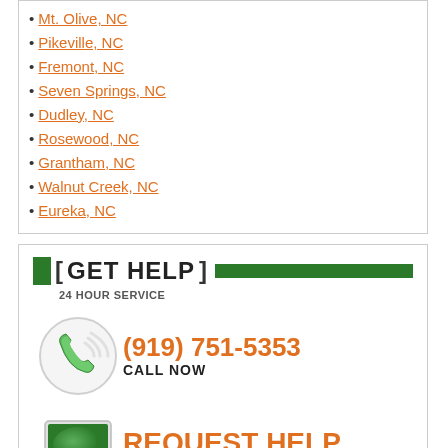Mt. Olive, NC
Pikeville, NC
Fremont, NC
Seven Springs, NC
Dudley, NC
Rosewood, NC
Grantham, NC
Walnut Creek, NC
Eureka, NC
[ GET HELP ] 24 HOUR SERVICE
(919) 751-5353 CALL NOW
REQUEST HELP ONLINE